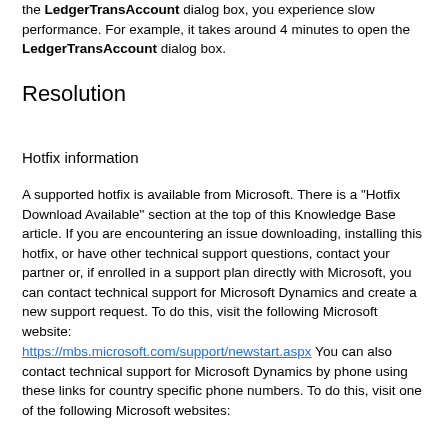the LedgerTransAccount dialog box, you experience slow performance. For example, it takes around 4 minutes to open the LedgerTransAccount dialog box.
Resolution
Hotfix information
A supported hotfix is available from Microsoft. There is a "Hotfix Download Available" section at the top of this Knowledge Base article. If you are encountering an issue downloading, installing this hotfix, or have other technical support questions, contact your partner or, if enrolled in a support plan directly with Microsoft, you can contact technical support for Microsoft Dynamics and create a new support request. To do this, visit the following Microsoft website:
https://mbs.microsoft.com/support/newstart.aspx You can also contact technical support for Microsoft Dynamics by phone using these links for country specific phone numbers. To do this, visit one of the following Microsoft websites: